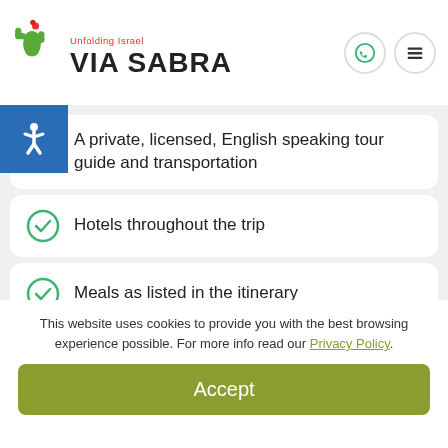Unfolding Israel VIA SABRA
A private, licensed, English speaking tour guide and transportation
Hotels throughout the trip
Meals as listed in the itinerary
Fees for sites and activities listed
This website uses cookies to provide you with the best browsing experience possible. For more info read our Privacy Policy.
Accept